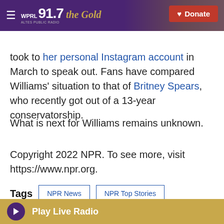91.7 FM the Gold WPRL | Donate
took to her personal Instagram account in March to speak out. Fans have compared Williams' situation to that of Britney Spears, who recently got out of a 13-year conservatorship.
What is next for Williams remains unknown.
Copyright 2022 NPR. To see more, visit https://www.npr.org.
Tags  NPR News  NPR Top Stories
[Figure (other): Social share icons: Twitter, LinkedIn, Email]
Play Live Radio